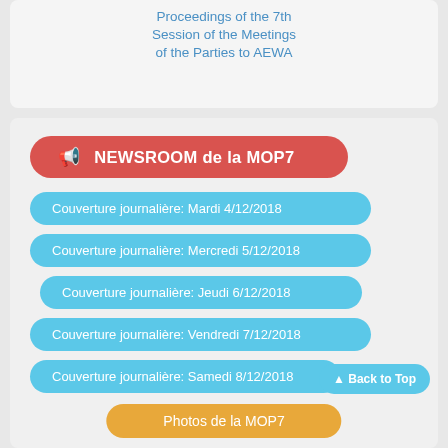Proceedings of the 7th Session of the Meetings of the Parties to AEWA
NEWSROOM de la MOP7
Couverture journalière: Mardi 4/12/2018
Couverture journalière: Mercredi 5/12/2018
Couverture journalière: Jeudi 6/12/2018
Couverture journalière: Vendredi 7/12/2018
Couverture journalière: Samedi 8/12/2018
Photos de la MOP7